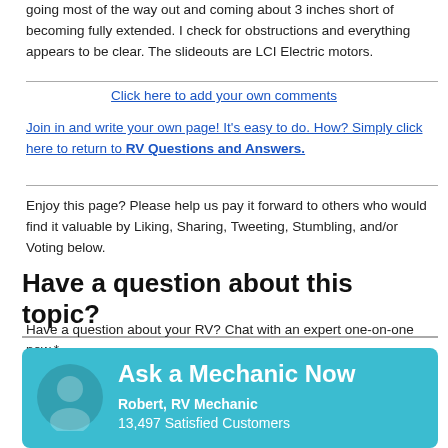going most of the way out and coming about 3 inches short of becoming fully extended. I check for obstructions and everything appears to be clear. The slideouts are LCI Electric motors.
Click here to add your own comments
Join in and write your own page! It's easy to do. How? Simply click here to return to RV Questions and Answers.
Enjoy this page? Please help us pay it forward to others who would find it valuable by Liking, Sharing, Tweeting, Stumbling, and/or Voting below.
Have a question about this topic?
Have a question about your RV? Chat with an expert one-on-one now.*
[Figure (infographic): Ask a Mechanic Now widget with teal background, mechanic avatar icon, title 'Ask a Mechanic Now', subtitle 'Robert, RV Mechanic', and '13,497 Satisfied Customers']